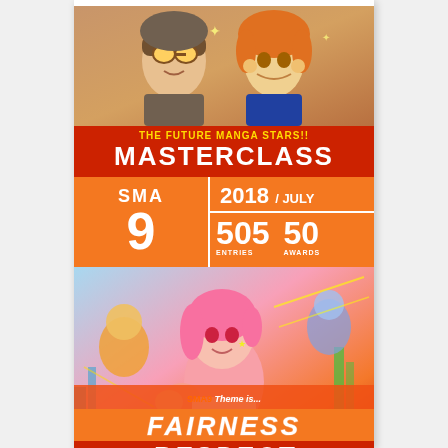[Figure (illustration): Two manga-style anime characters illustration at the top — a male character with goggles and a female character with orange hair smiling]
THE FUTURE MANGA STARS!! MASTERCLASS
SMA 9 | 2018 / JULY | 505 ENTRIES | 50 AWARDS
[Figure (illustration): Manga artwork showing a pink-haired girl in action pose with other manga character sketches in background. Text overlay: SMA9 Theme is... FAIRNESS RESPECT]